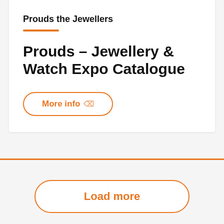Prouds the Jewellers
Prouds – Jewellery & Watch Expo Catalogue
More info
Load more